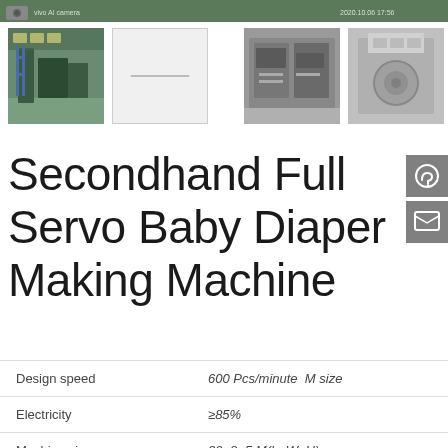[Figure (screenshot): Top banner with vivo AI camera label and timestamp 2020.10.06 17:56 on green/dark background]
[Figure (photo): Thumbnail 1: factory floor with machinery, green floor]
[Figure (photo): Thumbnail 2: placeholder/blank]
[Figure (photo): Thumbnail 3: industrial machine closeup, grey tones]
[Figure (photo): Thumbnail 4: machinery detail, grey tones]
Secondhand Full Servo Baby Diaper Making Machine
| Property | Value |
| --- | --- |
| Design speed | 600 Pcs/minute  M size |
| Electricity | ≥85% |
| Machine size | 32×8×5 M(L×W×H) |